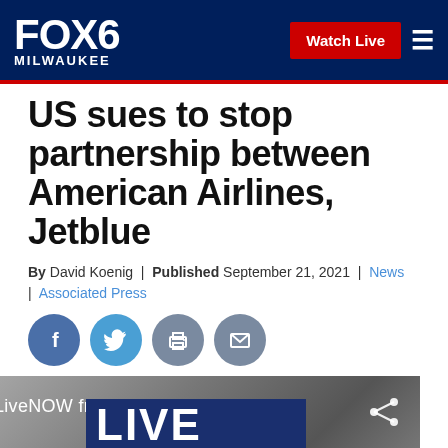FOX6 MILWAUKEE | Watch Live
US sues to stop partnership between American Airlines, Jetblue
By David Koenig | Published September 21, 2021 | News | Associated Press
[Figure (infographic): Social media sharing icons: Facebook, Twitter, Print, Email]
[Figure (screenshot): LiveNOW from FOX video thumbnail with LIVE NOW text overlay]